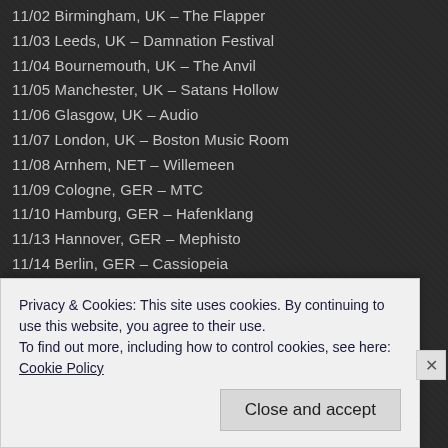11/02 Birmingham, UK – The Flapper
11/03 Leeds, UK – Damnation Festival
11/04 Bournemouth, UK – The Anvil
11/05 Manchester, UK – Satans Hollow
11/06 Glasgow, UK – Audio
11/07 London, UK – Boston Music Room
11/08 Arnhem, NET – Willemeen
11/09 Cologne, GER – MTC
11/10 Hamburg, GER – Hafenklang
11/13 Hannover, GER – Mephisto
11/14 Berlin, GER – Cassiopeia
11/15 Jena, GER – Rosenkeller
11/16 Leipzig, GER – Naumanns
11/17 Vienna, AUT – Escape
11/18 Graz, AUT – Explosiv
11/19 Munich, GER – Backstage
11/20 Trier, GER – [partially visible]
Privacy & Cookies: This site uses cookies. By continuing to use this website, you agree to their use.
To find out more, including how to control cookies, see here: Cookie Policy
Close and accept